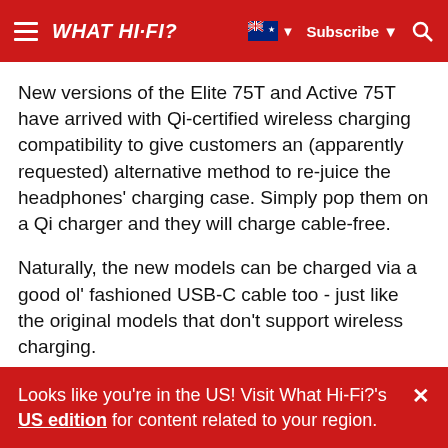WHAT HI-FI?
New versions of the Elite 75T and Active 75T have arrived with Qi-certified wireless charging compatibility to give customers an (apparently requested) alternative method to re-juice the headphones' charging case. Simply pop them on a Qi charger and they will charge cable-free.
Naturally, the new models can be charged via a good ol' fashioned USB-C cable too - just like the original models that don't support wireless charging.
Looks like you're in the US! Visit What Hi-Fi?'s US edition for content related to your region.